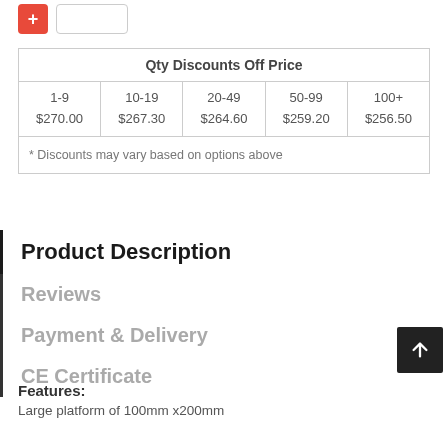[Figure (screenshot): Red minus/plus quantity button and input box at top]
| Qty Discounts Off Price |
| --- |
| 1-9
$270.00 | 10-19
$267.30 | 20-49
$264.60 | 50-99
$259.20 | 100+
$256.50 |
| * Discounts may vary based on options above |
Product Description
Reviews
Payment & Delivery
CE Certificate
Features:
Large platform of 100mm x200mm